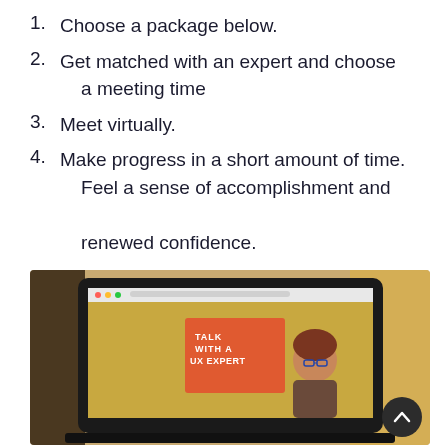1. Choose a package below.
2. Get matched with an expert and choose a meeting time
3. Meet virtually.
4. Make progress in a short amount of time. Feel a sense of accomplishment and renewed confidence.
[Figure (photo): Photo of a laptop screen showing a virtual meeting with a woman and a slide reading TALK WITH A UX EXPERT on an orange background]